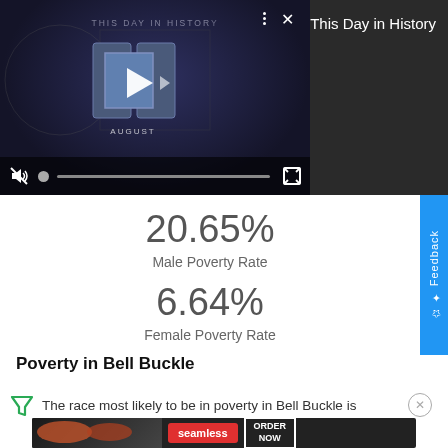[Figure (screenshot): Video player showing 'This Day in History' with play button logo, audio/progress controls, and a dark background with 'AUGUST' text. Top right dark panel shows 'This Day in History' title.]
20.65%
Male Poverty Rate
6.64%
Female Poverty Rate
Poverty in Bell Buckle
The race most likely to be in poverty in Bell Buckle is
[Figure (photo): Seamless food delivery advertisement banner showing pizza and 'ORDER NOW' button]